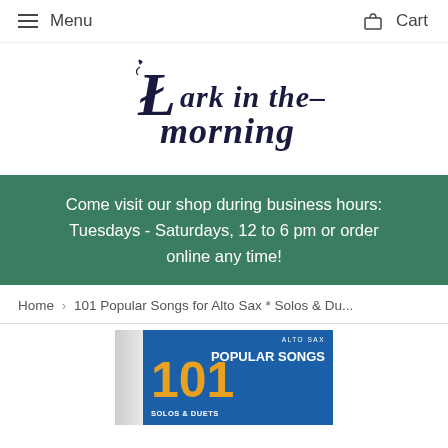Menu   Cart
[Figure (logo): Lark in the Morning decorative text logo in dark navy/black Celtic style lettering]
Come visit our shop during business hours: Tuesdays - Saturdays, 12 to 6 pm or order online any time!
Home > 101 Popular Songs for Alto Sax * Solos & Du...
[Figure (photo): Partial view of book cover: '101 Popular Songs Solos & Duets' for Alto Sax, blue cover with gold and white text]